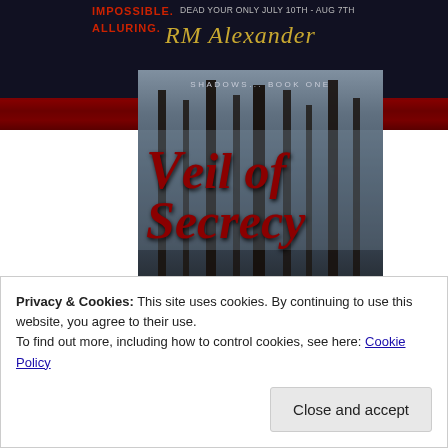[Figure (illustration): Top banner with dark background showing text 'IMPOSSIBLE.' and 'ALLURING.' in red, a date line, and author name 'RM Alexander' in gold italic script, with a red distressed strip below.]
[Figure (illustration): Book cover for 'Veil of Secrecy' - Shadows Book One by RM Alexander. Dark misty forest background with tall trees and red fallen leaves. Title in large dark red italic serif font. Subtitle 'SHADOWS... BOOK ONE' in small silver caps at the top.]
Privacy & Cookies: This site uses cookies. By continuing to use this website, you agree to their use.
To find out more, including how to control cookies, see here: Cookie Policy
Close and accept